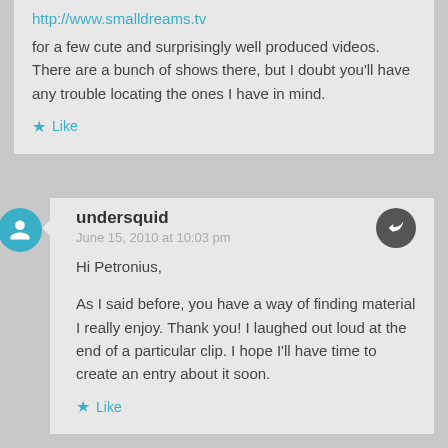http://www.smalldreams.tv
for a few cute and surprisingly well produced videos. There are a bunch of shows there, but I doubt you'll have any trouble locating the ones I have in mind.
Like
undersquid
June 15, 2010 at 10:03 pm
Hi Petronius,

As I said before, you have a way of finding material I really enjoy. Thank you! I laughed out loud at the end of a particular clip. I hope I'll have time to create an entry about it soon.
Like